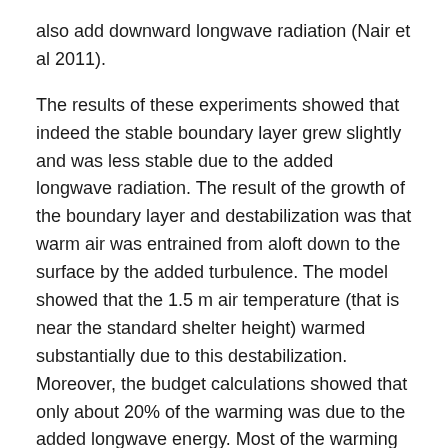also add downward longwave radiation (Nair et al 2011).
The results of these experiments showed that indeed the stable boundary layer grew slightly and was less stable due to the added longwave radiation. The result of the growth of the boundary layer and destabilization was that warm air was entrained from aloft down to the surface by the added turbulence. The model showed that the 1.5 m air temperature (that is near the standard shelter height) warmed substantially due to this destabilization. Moreover, the budget calculations showed that only about 20% of the warming was due to the added longwave energy. Most of the warming at shelter height was due to the warm air mixed from aloft. This is illustrated in figure 10 in the paper. Thus, this process is a highly sensitive positive feedback to surface warming.